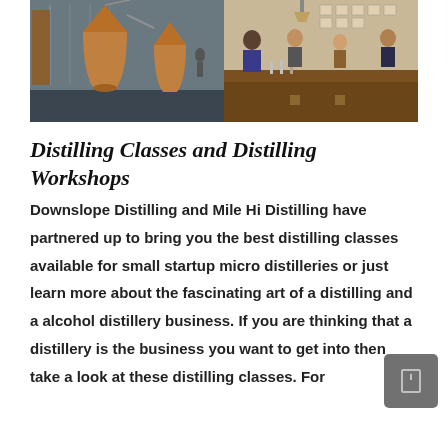[Figure (photo): Two side-by-side photos: left shows a distillery interior with copper pot stills and industrial equipment; right shows people seated at a bar/tasting room counter.]
Distilling Classes and Distilling Workshops
Downslope Distilling and Mile Hi Distilling have partnered up to bring you the best distilling classes available for small startup micro distilleries or just learn more about the fascinating art of a distilling and a alcohol distillery business. If you are thinking that a distillery is the business you want to get into then take a look at these distilling classes. For